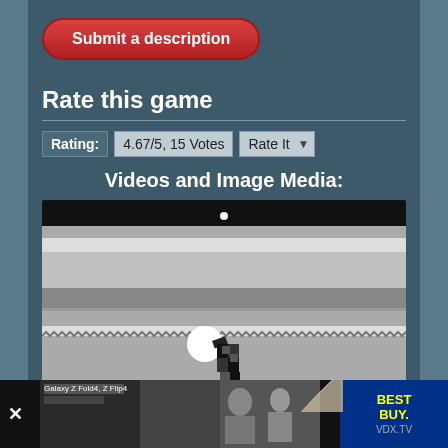Submit a description
Rate this game
Rating: 4.67/5, 15 Votes  Rate It
Videos and Image Media:
[Figure (screenshot): Video player showing a retro pixel-art game screenshot with a soccer/sports character in black and white on a grey field background. A small white dot navigation indicator is visible above the screenshot.]
[Figure (photo): Advertisement banner at the bottom showing a video thumbnail on the left and a Best Buy logo on the right with VDX.TV branding. A page-curl effect is visible in the corner.]